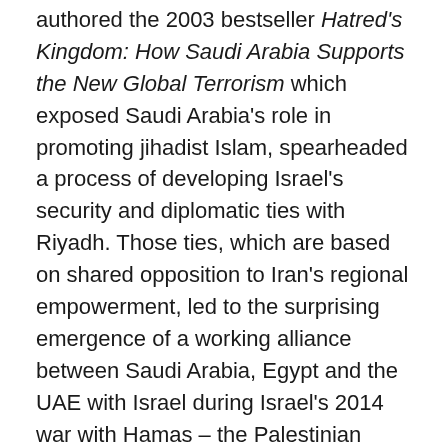authored the 2003 bestseller Hatred's Kingdom: How Saudi Arabia Supports the New Global Terrorism which exposed Saudi Arabia's role in promoting jihadist Islam, spearheaded a process of developing Israel's security and diplomatic ties with Riyadh. Those ties, which are based on shared opposition to Iran's regional empowerment, led to the surprising emergence of a working alliance between Saudi Arabia, Egypt and the UAE with Israel during Israel's 2014 war with Hamas – the Palestinian branch of the Muslim Brotherhood.
It is in the context of Saudi Arabia's reassessment of its interests and realignment of strategic posture in recent years that the dramatic events of the past few days in the kingdom must be seen.
Saturday's sudden announcement that a new anti-corruption committee headed by Crown Prince Mohammed...